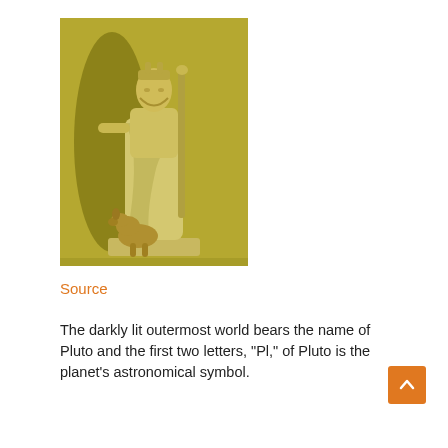[Figure (photo): A classical marble or stone statue of Pluto (Roman god of the underworld), standing upright holding a staff/scepter, with a dog (Cerberus) at his feet. The statue is photographed against a yellowish-olive background with the shadow visible on the wall.]
Source
The darkly lit outermost world bears the name of Pluto and the first two letters, “Pl,” of Pluto is the planet’s astronomical symbol.